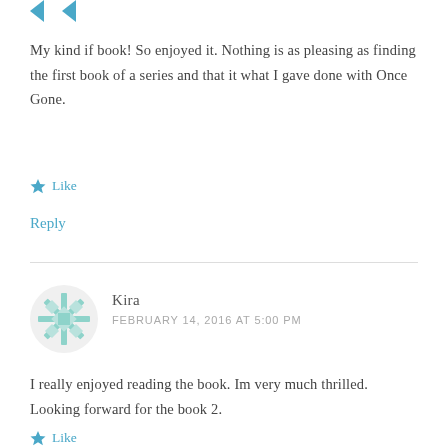[Figure (logo): Two teal/blue arrow or chevron icons at the top left]
My kind if book! So enjoyed it. Nothing is as pleasing as finding the first book of a series and that it what I gave done with Once Gone.
Like
Reply
Kira
FEBRUARY 14, 2016 AT 5:00 PM
[Figure (illustration): Round geometric snowflake-like avatar for user Kira, light teal color]
I really enjoyed reading the book. Im very much thrilled. Looking forward for the book 2.
Like